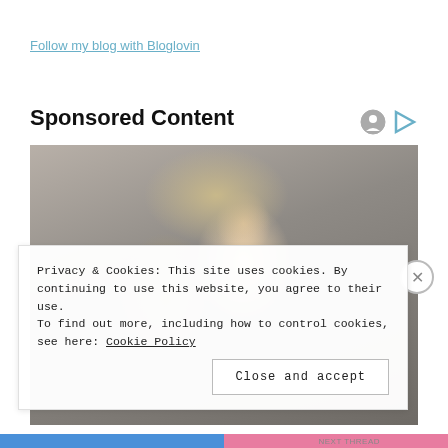Follow my blog with Bloglovin
Sponsored Content
[Figure (photo): Portrait photo of a young blonde woman with braided hair, red lips, and blue eyes against a grey background]
Privacy & Cookies: This site uses cookies. By continuing to use this website, you agree to their use.
To find out more, including how to control cookies, see here: Cookie Policy
Close and accept